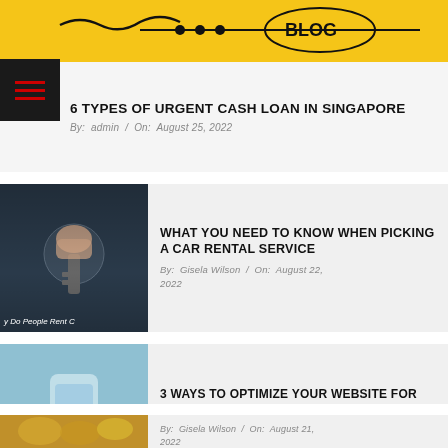[Figure (photo): Yellow banner with partially visible logo/image at top of page]
[Figure (illustration): Hamburger menu icon with three red lines on dark background]
6 TYPES OF URGENT CASH LOAN IN SINGAPORE
By: admin / On: August 25, 2022
[Figure (photo): Dark photo of a hand inserting a car key into a lock, with text 'Do People Rent C...' at bottom]
WHAT YOU NEED TO KNOW WHEN PICKING A CAR RENTAL SERVICE
By: Gisela Wilson / On: August 22, 2022
[Figure (photo): Blueish photo of a person holding a phone, partially visible]
3 WAYS TO OPTIMIZE YOUR WEBSITE FOR VOICE SEARCH
By: Gisela Wilson / On: August 21, 2022
[Figure (photo): Partial golden/brown colored image at bottom of page, likely coins or food]